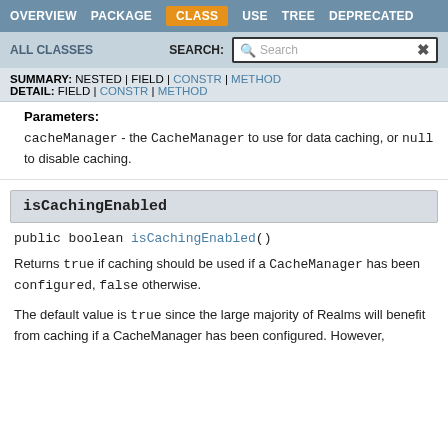OVERVIEW  PACKAGE  CLASS  USE  TREE  DEPRECATED
ALL CLASSES  SEARCH:
SUMMARY: NESTED | FIELD | CONSTR | METHOD  DETAIL: FIELD | CONSTR | METHOD
Parameters:
cacheManager - the CacheManager to use for data caching, or null to disable caching.
isCachingEnabled
public boolean isCachingEnabled()
Returns true if caching should be used if a CacheManager has been configured, false otherwise.
The default value is true since the large majority of Realms will benefit from caching if a CacheManager has been configured. However,